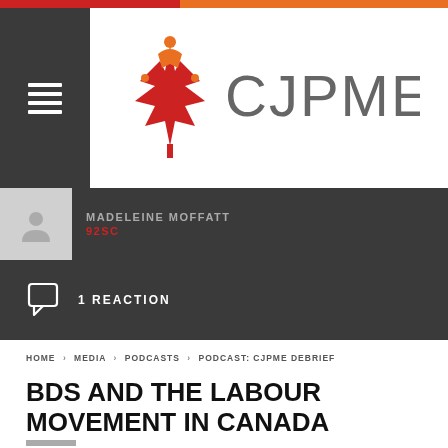[Figure (logo): CJPME logo with red maple leaf and orange figure, text CJPME in grey]
MADELEINE MOFFATT
92SC
1 REACTION
HOME > MEDIA > PODCASTS > PODCAST: CJPME DEBRIEF
BDS AND THE LABOUR MOVEMENT IN CANADA